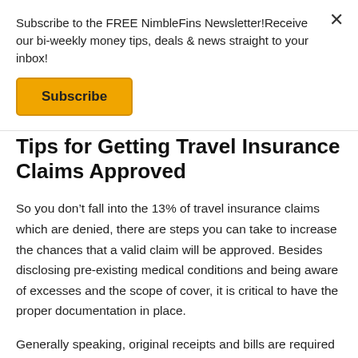Subscribe to the FREE NimbleFins Newsletter!Receive our bi-weekly money tips, deals & news straight to your inbox!
Subscribe
Tips for Getting Travel Insurance Claims Approved
So you don't fall into the 13% of travel insurance claims which are denied, there are steps you can take to increase the chances that a valid claim will be approved. Besides disclosing pre-existing medical conditions and being aware of excesses and the scope of cover, it is critical to have the proper documentation in place.
Generally speaking, original receipts and bills are required as is an official report (from police, airline or medical practitioner, as applicable). While each insurer had different